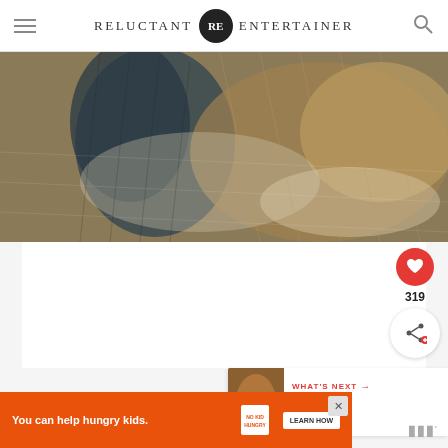RELUCTANT RE ENTERTAINER
[Figure (photo): Close-up photo of a dog's dark fur against a textured shaggy rug or blanket with brown, tan, and white tones]
[Figure (infographic): Heart/like button showing 319 likes, and a share button]
[Figure (infographic): What's Next panel showing a thumbnail and text 'Cranberry Hazelnut...']
[Figure (infographic): Advertisement banner: 'You can help hungry kids.' with No Kid Hungry logo and Learn How button. Mediavine logo on right.]